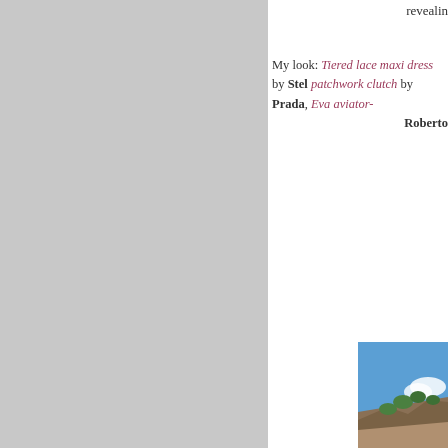[Figure (photo): Left half of page showing a gray/neutral colored background, likely cropped image]
revealin
My look: Tiered lace maxi dress by Stel patchwork clutch by Prada, Eva aviator- Roberto
[Figure (photo): Outdoor landscape photo showing rocky hillside with green trees against a blue sky with white clouds]